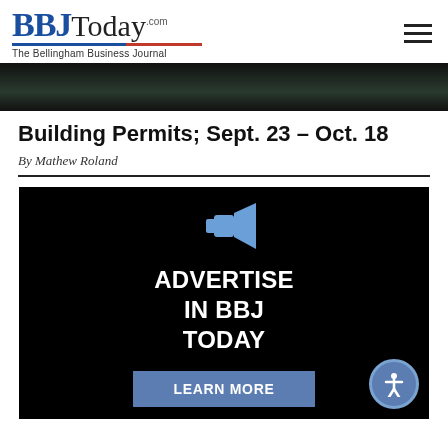BBJToday.com — The Bellingham Business Journal
[Figure (photo): Dark hero banner image showing trees or night scene]
Building Permits; Sept. 23 – Oct. 18
By Mathew Roland
[Figure (infographic): Advertisement banner with megaphone icon: ADVERTISE IN BBJ TODAY with a LEARN MORE button and accessibility icon]